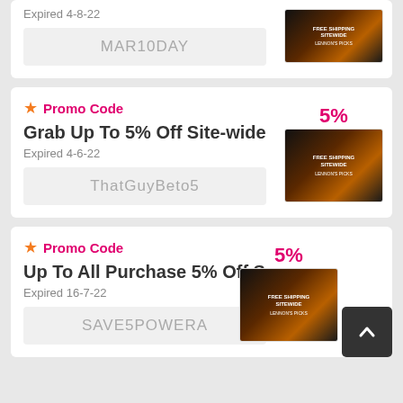Expired 4-8-22
MAR10DAY
Promo Code
Grab Up To 5% Off Site-wide
Expired 4-6-22
ThatGuyBeto5
Promo Code
Up To All Purchase 5% Off S
Expired 16-7-22
SAVE5POWERA